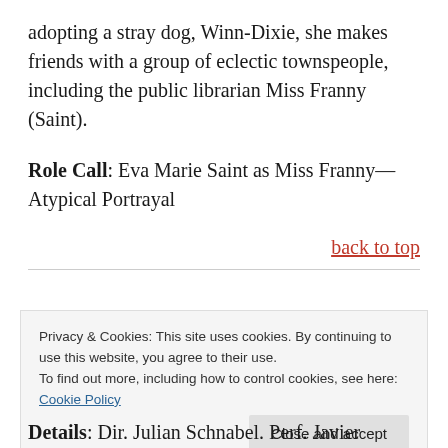adopting a stray dog, Winn-Dixie, she makes friends with a group of eclectic townspeople, including the public librarian Miss Franny (Saint).
Role Call: Eva Marie Saint as Miss Franny—Atypical Portrayal
back to top
Privacy & Cookies: This site uses cookies. By continuing to use this website, you agree to their use.
To find out more, including how to control cookies, see here:
Cookie Policy
Close and accept
Details: Dir. Julian Schnabel. Perf. Javier